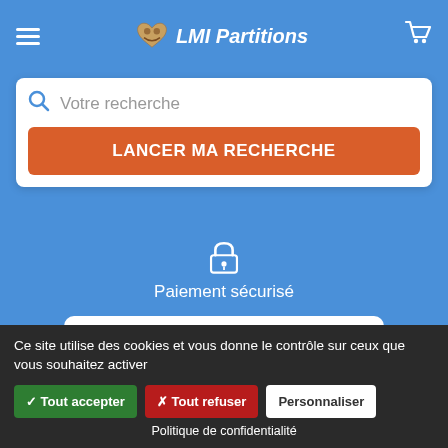LMI Partitions
Votre recherche
LANCER MA RECHERCHE
[Figure (illustration): Lock icon for secure payment]
Paiement sécurisé
Nos magasins
Qui sommes-nous ?
Ce site utilise des cookies et vous donne le contrôle sur ceux que vous souhaitez activer
✓ Tout accepter
✗ Tout refuser
Personnaliser
Politique de confidentialité